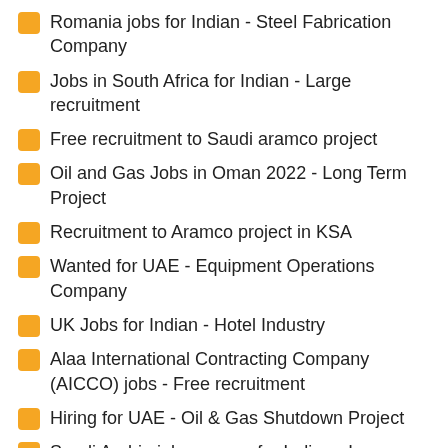Romania jobs for Indian - Steel Fabrication Company
Jobs in South Africa for Indian - Large recruitment
Free recruitment to Saudi aramco project
Oil and Gas Jobs in Oman 2022 - Long Term Project
Recruitment to Aramco project in KSA
Wanted for UAE - Equipment Operations Company
UK Jobs for Indian - Hotel Industry
Alaa International Contracting Company (AICCO) jobs - Free recruitment
Hiring for UAE - Oil & Gas Shutdown Project
Saudi Arabia job vacancy for Indian - Large recruitment
Kuwait job vacancy 2022 - Large recruitment
Jazal Group job vacancy - Recruitment to Dubai